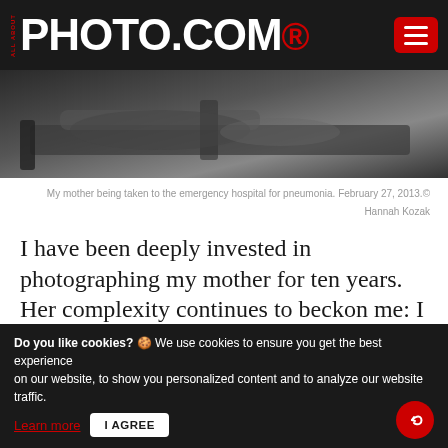ALL ABOUT PHOTO.COM
[Figure (photo): Black and white photograph of a person (mother) on a hospital bed/gurney being taken to the emergency hospital.]
My mother being taken to the emergency hospital for pneumonia. February 27, 2013.© Hannah Kozak
I have been deeply invested in photographing my mother for ten years. Her complexity continues to beckon me: I will not avert my eyes from the truth of her condition no matter how difficult it is to see. Someone must be witness to her life. In addition, I want my photographs to make people pause and question
Do you like cookies? 🍪 We use cookies to ensure you get the best experience on our website, to show you personalized content and to analyze our website traffic. Learn more  I AGREE